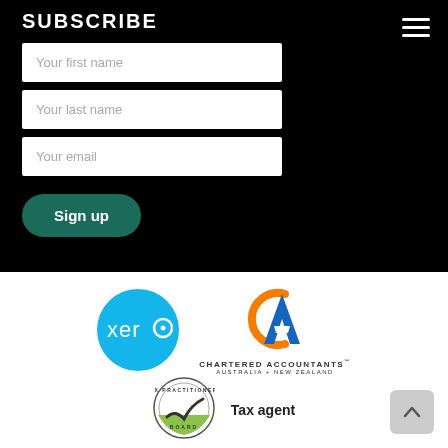SUBSCRIBE
Your first name
Your last name
Your email
Sign up
[Figure (logo): Xero logo — cyan circle with white 'xero' text]
[Figure (logo): Chartered Accountants Australia + New Zealand logo — orange and blue CA mark with text]
[Figure (logo): Tax Practitioners Board circular badge logo]
Tax agent